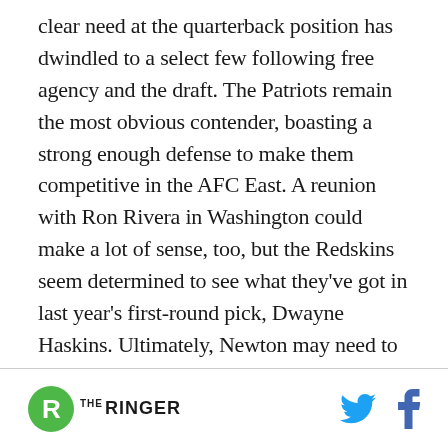clear need at the quarterback position has dwindled to a select few following free agency and the draft. The Patriots remain the most obvious contender, boasting a strong enough defense to make them competitive in the AFC East. A reunion with Ron Rivera in Washington could make a lot of sense, too, but the Redskins seem determined to see what they've got in last year's first-round pick, Dwayne Haskins. Ultimately, Newton may need to wait for a job to open up (due to injury or poor play) before finding a destination.
THE RINGER